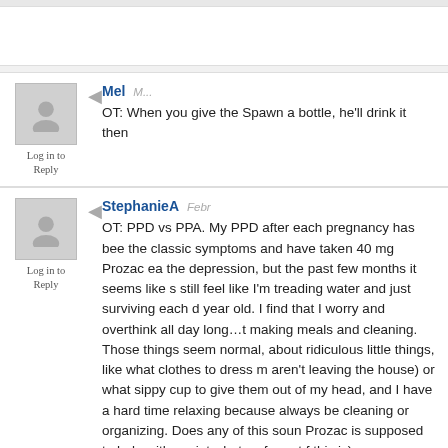Log in to Reply
Mel
OT: When you give the Spawn a bottle, he'll drink it then...
Log in to Reply
StephanieA
Febr...
OT: PPD vs PPA. My PPD after each pregnancy has been the classic symptoms and have taken 40 mg Prozac each the depression, but the past few months it seems like so still feel like I'm treading water and just surviving each d year old. I find that I worry and overthink all day long…th making meals and cleaning. Those things seem normal, about ridiculous little things, like what clothes to dress m aren't leaving the house) or what sippy cup to give them out of my head, and I have a hard time relaxing because always be cleaning or organizing. Does any of this soun Prozac is supposed to help with anxiety, but so far not fo this is).